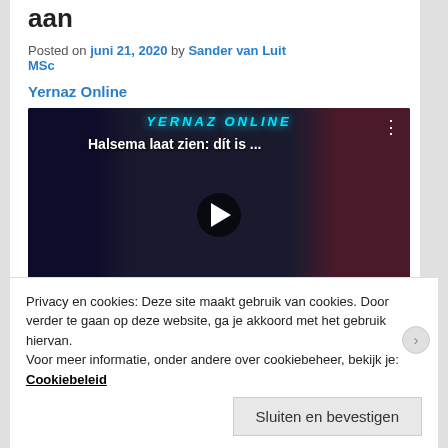aan
Posted on juni 21, 2020 by Sander van Luit MSc
Yernaz Online
[Figure (screenshot): Video thumbnail for Yernaz Online showing 'Halsema laat zien: dít is ...' with a play button in the center. Shows a woman in a grey jacket on the left and a man with crowds in the background.]
Privacy en cookies: Deze site maakt gebruik van cookies. Door verder te gaan op deze website, ga je akkoord met het gebruik hiervan.
Voor meer informatie, onder andere over cookiebeheer, bekijk je:
Cookiebeleid
Sluiten en bevestigen